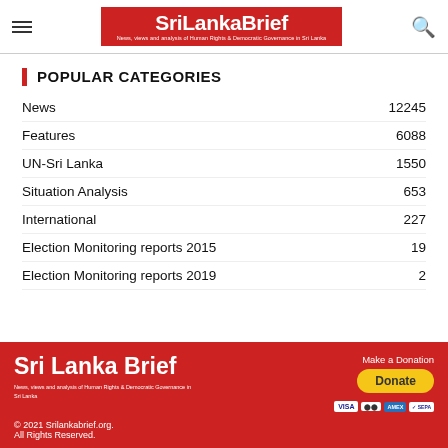SriLankaBrief — News, views and analysis of Human Rights & Democratic Governance in Sri Lanka
POPULAR CATEGORIES
News  12245
Features  6088
UN-Sri Lanka  1550
Situation Analysis  653
International  227
Election Monitoring reports 2015  19
Election Monitoring reports 2019  2
Sri Lanka Brief — News, views and analysis of Human Rights & Democratic Governance in Sri Lanka. Make a Donation. Donate. © 2021 Srilankabrief.org. All Rights Reserved.